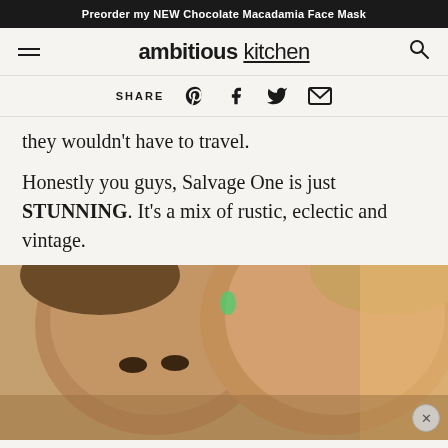Preorder my NEW Chocolate Macadamia Face Mask
[Figure (logo): Ambitious Kitchen logo with hamburger menu and search icon]
SHARE [Pinterest] [Facebook] [Twitter] [Email]
they wouldn't have to travel.
Honestly you guys, Salvage One is just STUNNING. It's a mix of rustic, eclectic and vintage.
[Figure (photo): Close-up photo of two people's faces, cropped at forehead/eye level, warm indoor lighting]